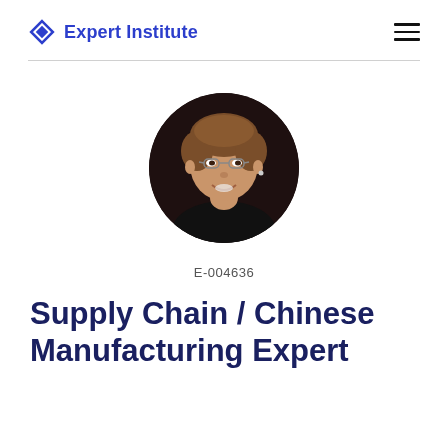Expert Institute
[Figure (photo): Circular headshot portrait of a middle-aged woman with short brown hair, glasses, wearing a dark top, smiling, on a dark background.]
E-004636
Supply Chain / Chinese Manufacturing Expert